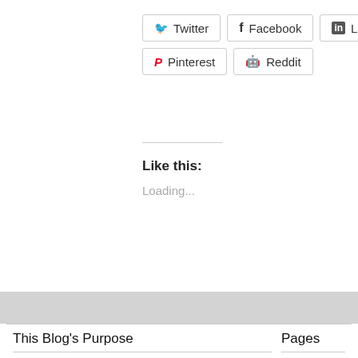[Figure (other): Social share buttons: Twitter, Facebook, LinkedIn, Email (partially visible), Pinterest, Reddit]
Like this:
Loading...
This Blog's Purpose
Pages
Software Strategies Blog focuses on AI & machine learning's impact on the future of enterprise software including ERP, CRM
About
Advertisi...